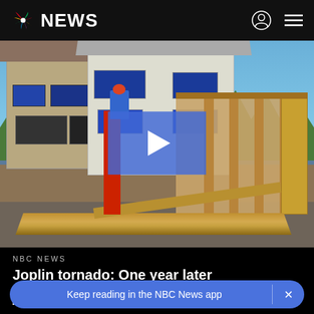NBC NEWS
[Figure (photo): A house under construction or repair after tornado damage. A partially built wood-framed structure addition is visible on the right side of an existing two-story house. Workers can be seen with a red ladder. Lumber framing and OSB sheathing visible. Blue sky with trees in background.]
NBC NEWS
Joplin tornado: One year later
Keep reading in the NBC News app